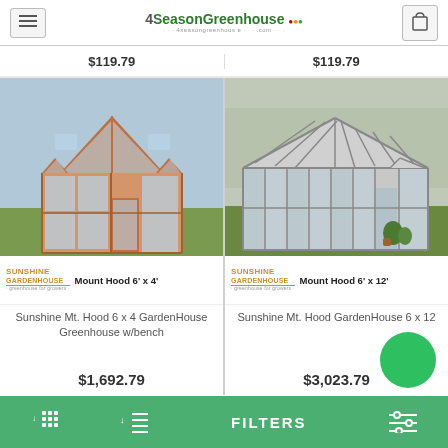4SeasonGreenhouse
$119.79   $119.79
[Figure (photo): Sunshine Mt. Hood 6x4 wooden greenhouse with glass panels on green lawn]
SUNSHINE GARDENHOUSE   Mount Hood 6' x 4'
Sunshine Mt. Hood 6 x 4 GardenHouse Greenhouse w/bench
$1,692.79
[Figure (photo): Sunshine Mt. Hood 6x12 aluminum greenhouse with glass panels on green lawn]
SUNSHINE GARDENHOUSE   Mount Hood 6' x 12'
Sunshine Mt. Hood GardenHouse 6 x 12
$3,023.79
FILTERS